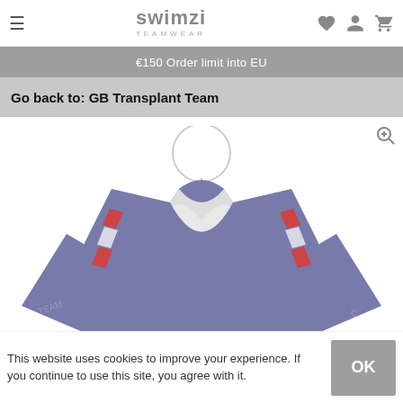Swimzi Teamwear
€150 Order limit into EU
Go back to: GB Transplant Team
[Figure (photo): GB Transplant Team jersey in purple/blue with red stripe accents, Union Jack badge, 'JC' initials, and Swimzi branding on a mannequin hanger]
This website uses cookies to improve your experience. If you continue to use this site, you agree with it.